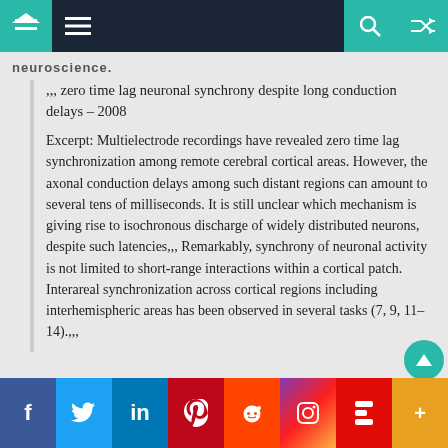neuroscience
,,, zero time lag neuronal synchrony despite long conduction delays – 2008
Excerpt: Multielectrode recordings have revealed zero time lag synchronization among remote cerebral cortical areas. However, the axonal conduction delays among such distant regions can amount to several tens of milliseconds. It is still unclear which mechanism is giving rise to isochronous discharge of widely distributed neurons, despite such latencies,,, Remarkably, synchrony of neuronal activity is not limited to short-range interactions within a cortical patch. Interareal synchronization across cortical regions including interhemispheric areas has been observed in several tasks (7, 9, 11–14).,,,
f  Twitter  in  Pinterest  Reddit  Instagram  Flipboard  +